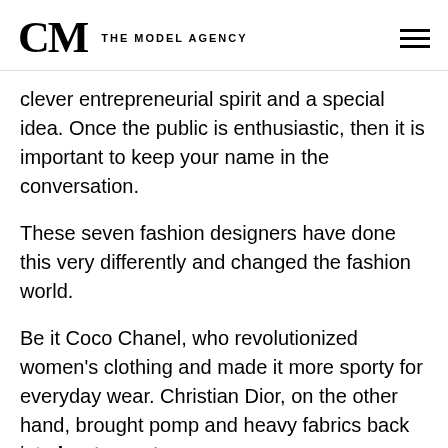CM THE MODEL AGENCY
clever entrepreneurial spirit and a special idea. Once the public is enthusiastic, then it is important to keep your name in the conversation.
These seven fashion designers have done this very differently and changed the fashion world.
Be it Coco Chanel, who revolutionized women's clothing and made it more sporty for everyday wear. Christian Dior, on the other hand, brought pomp and heavy fabrics back into haute couture.
Dior's successor Yves Saint Laurent rather followed Chanel's approach and but he left the fashion house quite quickly again. In his own label he brought mainly the everyday events into his fashion. Above all the aspect that women want to work more and more and